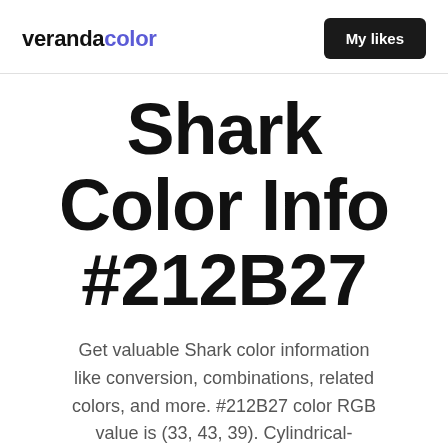verandacolor   My likes
Shark Color Info #212B27
Get valuable Shark color information like conversion, combinations, related colors, and more. #212B27 color RGB value is (33, 43, 39). Cylindrical-coordinate representations (also